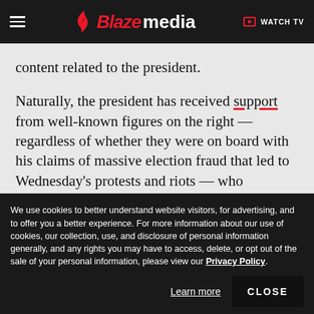Blaze media | WATCH TV
content related to the president.
Naturally, the president has received support from well-known figures on the right — regardless of whether they were on board with his claims of massive election fraud that led to Wednesday's protests and riots — who denounced Big Tech's efforts to silence the president.
We use cookies to better understand website visitors, for advertising, and to offer you a better experience. For more information about our use of cookies, our collection, use, and disclosure of personal information generally, and any rights you may have to access, delete, or opt out of the sale of your personal information, please view our Privacy Policy.
Learn more
CLOSE